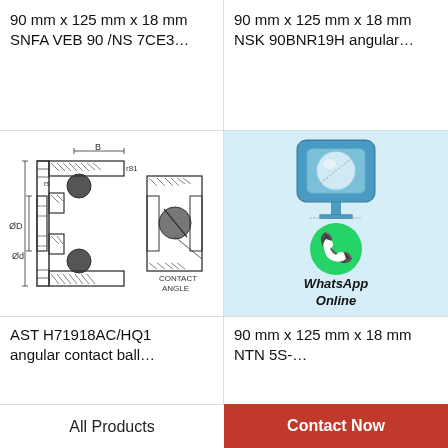90 mm x 125 mm x 18 mm SNFA VEB 90 /NS 7CE3…
90 mm x 125 mm x 18 mm NSK 90BNR19H angular…
[Figure (engineering-diagram): Angular contact ball bearing cross-section diagram showing ØD outer diameter,Ød inner diameter, B width dimension, contact angle marker]
[Figure (illustration): Angular contact ball bearing illustration on blue background with WhatsApp Online contact button overlay]
AST H71918AC/HQ1 angular contact ball…
90 mm x 125 mm x 18 mm NTN 5S-…
[Figure (engineering-diagram): Partial bearing cross-section diagrams at bottom, cropped]
All Products
Contact Now